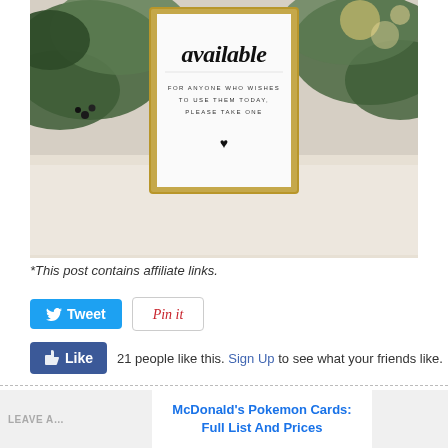[Figure (photo): A framed white sign in a gold frame reading 'available FOR ANYONE WHO WISHES TO USE THEM TODAY, PLEASE TAKE ONE' with a heart symbol, surrounded by greenery.]
*This post contains affiliate links.
[Figure (infographic): Tweet button and Pin it button side by side]
[Figure (infographic): Facebook Like button with '21 people like this. Sign Up to see what your friends like.']
LEAVE A…
McDonald's Pokemon Cards: Full List And Prices